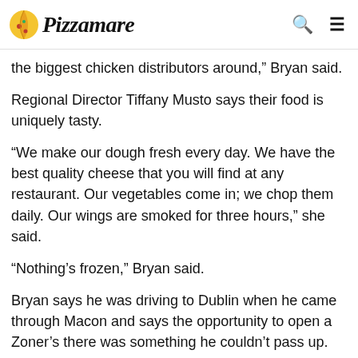Pizzamare
the biggest chicken distributors around,” Bryan said.
Regional Director Tiffany Musto says their food is uniquely tasty.
“We make our dough fresh every day. We have the best quality cheese that you will find at any restaurant. Our vegetables come in; we chop them daily. Our wings are smoked for three hours,” she said.
“Nothing’s frozen,” Bryan said.
Bryan says he was driving to Dublin when he came through Macon and says the opportunity to open a Zoner’s there was something he couldn’t pass up.
“I said ‘my goodness, this is where we need to be.’ We were looking for different spots and realized